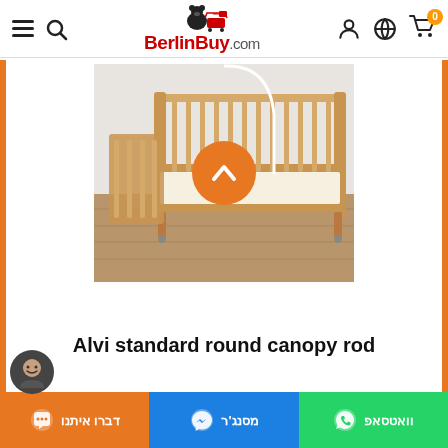BerlinBuy.com — navigation bar with hamburger menu, search, logo, user icon, globe icon, cart (0)
[Figure (photo): A natural wood baby crib/cot on a wooden floor against a white wall, with a white canopy rod attached. An orange circle with a white upward chevron arrow is overlaid in the center of the image.]
Alvi standard round canopy rod
דברו איתנו | מסנג'ר | וואטסאפ — chat contact bar